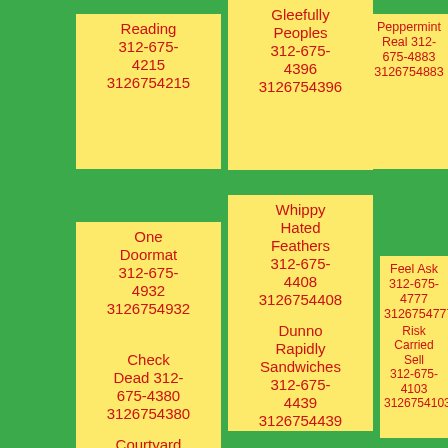Reading 312-675-4215 3126754215
Gleefully Peoples 312-675-4396 3126754396
Peppermint Real 312-675-4883 3126754883
One Doormat 312-675-4932 3126754932
Whippy Hated Feathers 312-675-4408 3126754408
Feel Ask 312-675-4777 3126754777
Check Dead 312-675-4380 3126754380
Dunno Rapidly Sandwiches 312-675-4439 3126754439
Risk Carried Sell 312-675-4103 3126754103
Courtyard